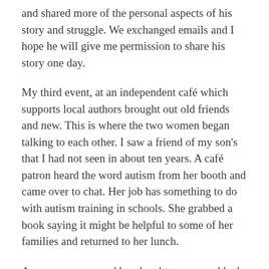and shared more of the personal aspects of his story and struggle. We exchanged emails and I hope he will give me permission to share his story one day.
My third event, at an independent café which supports local authors brought out old friends and new. This is where the two women began talking to each other. I saw a friend of my son's that I had not seen in about ten years. A café patron heard the word autism from her booth and came over to chat. Her job has something to do with autism training in schools. She grabbed a book saying it might be helpful to some of her families and returned to her lunch.
A young woman and her daughter were suddenly standing at my table. I never knew if she popped in from outside because she saw my sign or if she had been eating at the café.